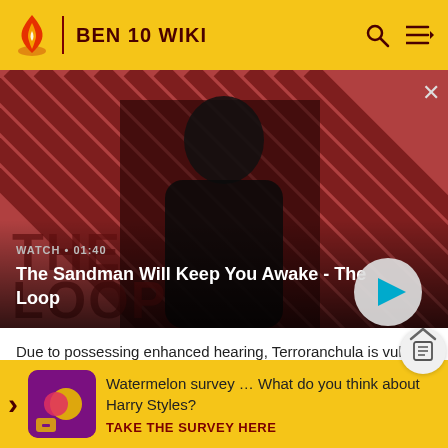BEN 10 WIKI
[Figure (screenshot): Video banner showing a man in dark clothes with a crow on his shoulder against a diagonal red and dark stripe background. Title card reads 'The Sandman Will Keep You Awake - The Loop' with WATCH 01:40 label and a play button.]
Due to possessing enhanced hearing, Terroranchula is vulne
Hist
Watermelon survey … What do you think about Harry Styles? TAKE THE SURVEY HERE